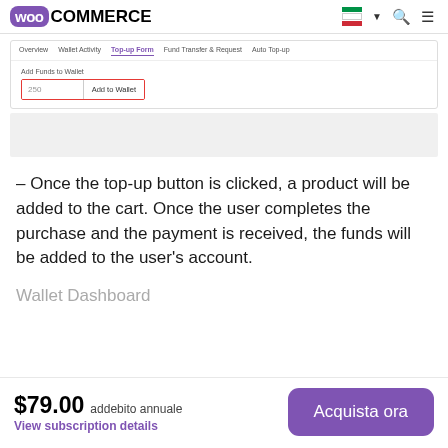WooCommerce
[Figure (screenshot): WooCommerce wallet top-up form screenshot showing tabs (Overview, Wallet Activity, Top-up Form, Fund Transfer & Request, Auto Top-up) and an input field with value '250' and 'Add to Wallet' button, highlighted with a red border]
– Once the top-up button is clicked, a product will be added to the cart. Once the user completes the purchase and the payment is received, the funds will be added to the user's account.
Wallet Dashboard
$79.00 addebito annuale View subscription details Acquista ora